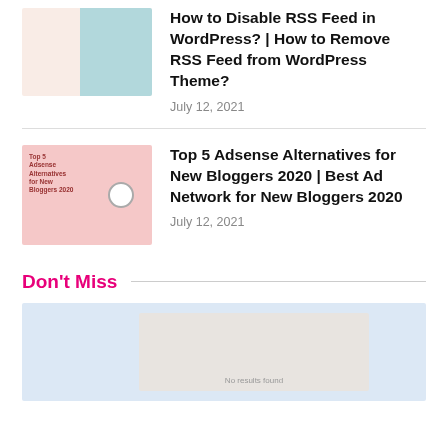How to Disable RSS Feed in WordPress? | How to Remove RSS Feed from WordPress Theme?
July 12, 2021
Top 5 Adsense Alternatives for New Bloggers 2020 | Best Ad Network for New Bloggers 2020
July 12, 2021
Don't Miss
[Figure (illustration): Featured article thumbnail image placeholder with light blue background and gray inner box]